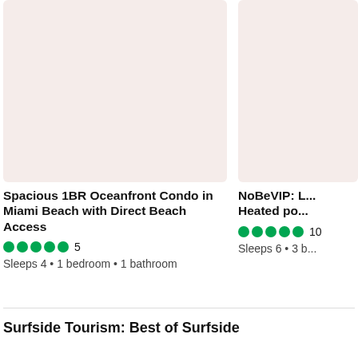[Figure (photo): Listing image placeholder for Spacious 1BR Oceanfront Condo, pinkish-beige background]
Spacious 1BR Oceanfront Condo in Miami Beach with Direct Beach Access
5 stars • Sleeps 4 • 1 bedroom • 1 bathroom
[Figure (photo): Listing image placeholder for NoBeVIP listing, pinkish-beige background, partially cropped]
NoBeVIP: L... Heated po...
10 reviews • Sleeps 6 • 3 b...
Surfside Tourism: Best of Surfside